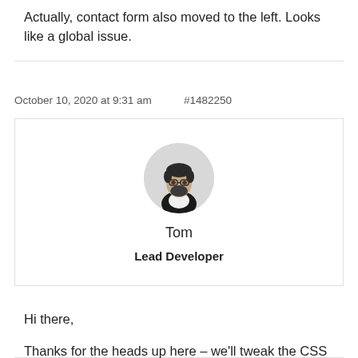Actually, contact form also moved to the left. Looks like a global issue.
October 10, 2020 at 9:31 am    #1482250
[Figure (photo): Circular avatar photo of a man with glasses and beard wearing a black shirt, on a light grey background]
Tom
Lead Developer
Hi there,

Thanks for the heads up here – we'll tweak the CSS in the theme to specific